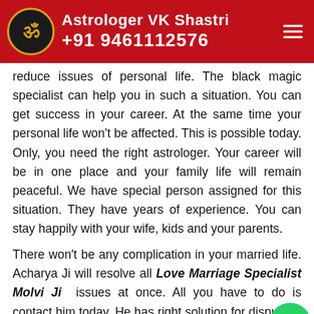Astrologer VK Shastri +91 9461112576
reduce issues of personal life. The black magic specialist can help you in such a situation. You can get success in your career. At the same time your personal life won't be affected. This is possible today. Only, you need the right astrologer. Your career will be in one place and your family life will remain peaceful. We have special person assigned for this situation. They have years of experience. You can stay happily with your wife, kids and your parents.
There won't be any complication in your married life. Acharya Ji will resolve all Love Marriage Specialist Molvi Ji issues at once. All you have to do is contact him today. He has right solution for dispute in personal
Power Of Black Magic Specialist